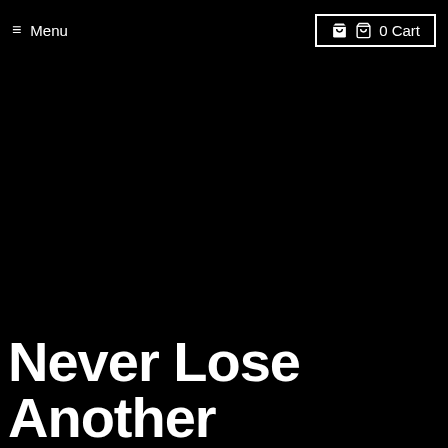≡ Menu
🛍 0 Cart
Never Lose Another